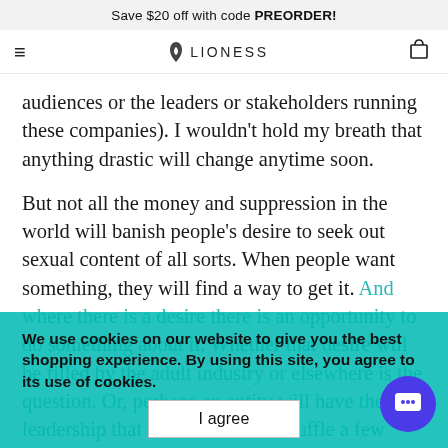Save $20 off with code PREORDER!
≡  🌿 LIONESS  🛍
audiences or the leaders or stakeholders running these companies). I wouldn't hold my breath that anything drastic will change anytime soon.
But not all the money and suppression in the world will banish people's desire to seek out sexual content of all sorts. When people want something, they will find a way to get it. And where there is a desire there is an opportunity to do something about it. Whether that desire will be filled by the adult industry or elsewhere is the question. Or, perhaps an entity will have the leadership that will not afraid to ruffle a few feathers
We use cookies on our website to give you the best shopping experience. By using this site, you agree to its use of cookies.
I agree